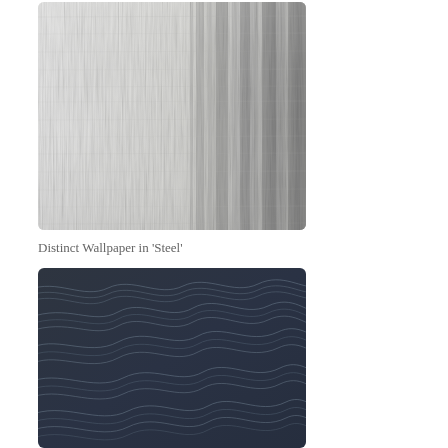[Figure (photo): Close-up of brushed metallic/fabric wallpaper texture in light grey and steel tones with vertical stripe gradients on the right side]
Distinct Wallpaper in 'Steel'
[Figure (photo): Dark navy/charcoal wallpaper with flowing wavy topographic line pattern in lighter grey lines]